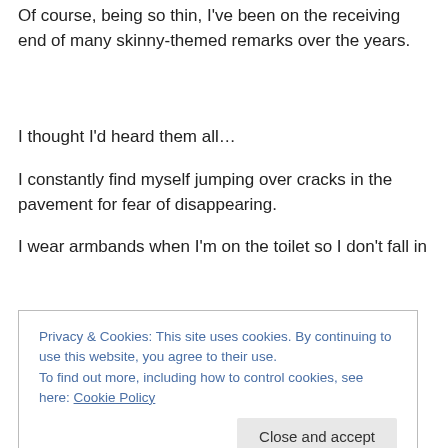Of course, being so thin, I've been on the receiving end of many skinny-themed remarks over the years.
I thought I'd heard them all…
I constantly find myself jumping over cracks in the pavement for fear of disappearing.
I wear armbands when I'm on the toilet so I don't fall in
Privacy & Cookies: This site uses cookies. By continuing to use this website, you agree to their use.
To find out more, including how to control cookies, see here: Cookie Policy
Close and accept